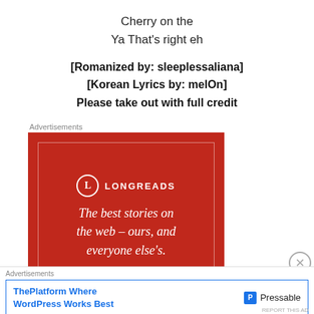Cherry on the
Ya That's right eh
[Romanized by: sleeplessaliana]
[Korean Lyrics by: melOn]
Please take out with full credit
Advertisements
[Figure (illustration): Longreads advertisement banner with red background, logo, and tagline 'The best stories on the web – ours, and everyone else's.']
Advertisements
[Figure (illustration): Pressable/WordPress advertisement banner: 'ThePlatform Where WordPress Works Best' with Pressable logo.]